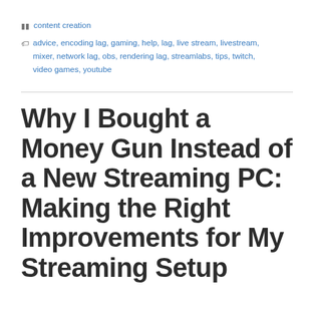content creation
advice, encoding lag, gaming, help, lag, live stream, livestream, mixer, network lag, obs, rendering lag, streamlabs, tips, twitch, video games, youtube
Why I Bought a Money Gun Instead of a New Streaming PC: Making the Right Improvements for My Streaming Setup